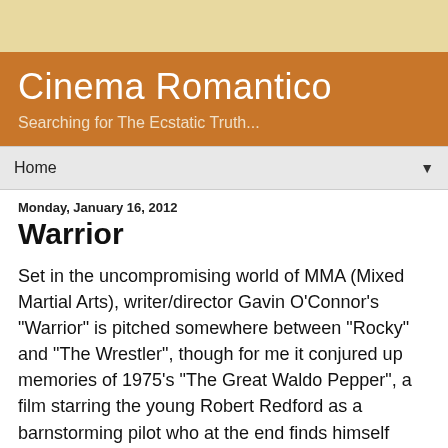Cinema Romantico
Searching for The Ecstatic Truth...
Cinema Romantico
Searching for The Ecstatic Truth...
Home
Monday, January 16, 2012
Warrior
Set in the uncompromising world of MMA (Mixed Martial Arts), writer/director Gavin O'Connor's "Warrior" is pitched somewhere between "Rocky" and "The Wrestler", though for me it conjured up memories of 1975's "The Great Waldo Pepper", a film starring the young Robert Redford as a barnstorming pilot who at the end finds himself filming a flying stunt sequence with a German WWI ace that, improbably, gloriously, turns real, two men giving themselves up entirely one final time. "Warrior" skillfully builds to a conclusion that's very much in the same vein and that on